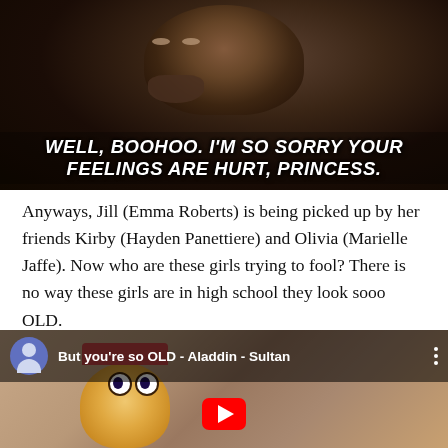[Figure (screenshot): Movie still showing a bearded man with an intense expression with white bold text overlay: WELL, BOOHOO. I'M SO SORRY YOUR FEELINGS ARE HURT, PRINCESS.]
Anyways, Jill (Emma Roberts) is being picked up by her friends Kirby (Hayden Panettiere) and Olivia (Marielle Jaffe). Now who are these girls trying to fool? There is no way these girls are in high school they look sooo OLD.
[Figure (screenshot): YouTube video thumbnail showing animated character (Sultan from Aladdin) with video title: But you're so OLD - Aladdin - Sultan. Shows user avatar icon on left and three-dot menu on right.]